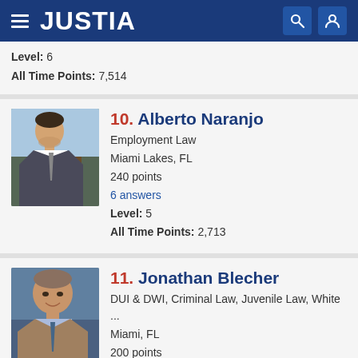JUSTIA
Level: 6
All Time Points: 7,514
10. Alberto Naranjo
Employment Law
Miami Lakes, FL
240 points
6 answers
Level: 5
All Time Points: 2,713
11. Jonathan Blecher
DUI & DWI, Criminal Law, Juvenile Law, White ...
Miami, FL
200 points
4 answers
Level: 6
All Time Points: 10,739